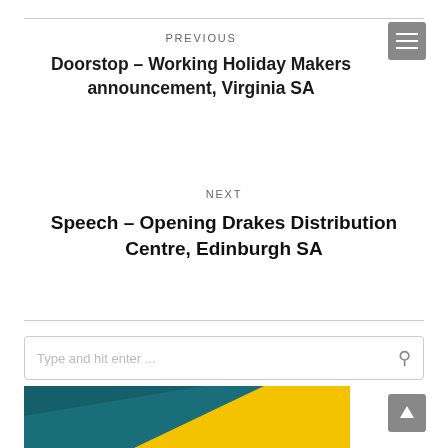PREVIOUS
Doorstop – Working Holiday Makers announcement, Virginia SA
NEXT
Speech – Opening Drakes Distribution Centre, Edinburgh SA
Type and hit enter ...
[Figure (illustration): Partial view of a graphic with teal/blue and yellow diagonal sections, likely a banner or promotional image]